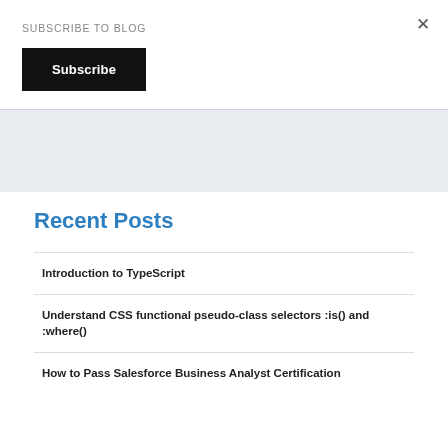SUBSCRIBE TO BLOG
×
Subscribe
Recent Posts
Introduction to TypeScript
Understand CSS functional pseudo-class selectors :is() and :where()
How to Pass Salesforce Business Analyst Certification